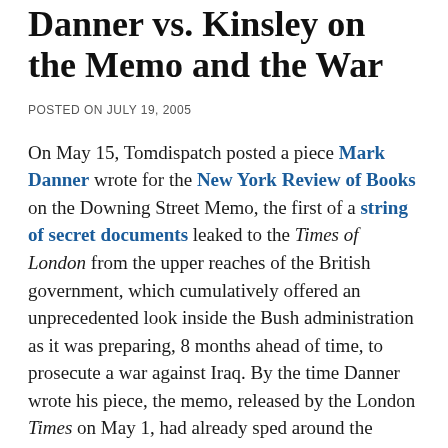Danner vs. Kinsley on the Memo and the War
POSTED ON JULY 19, 2005
On May 15, Tomdispatch posted a piece Mark Danner wrote for the New York Review of Books on the Downing Street Memo, the first of a string of secret documents leaked to the Times of London from the upper reaches of the British government, which cumulatively offered an unprecedented look inside the Bush administration as it was preparing, 8 months ahead of time, to prosecute a war against Iraq. By the time Danner wrote his piece, the memo, released by the London Times on May 1, had already sped around the Internet, but had still